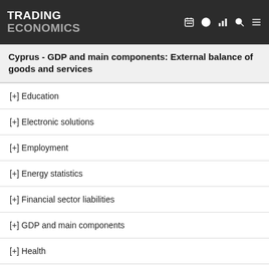TRADING ECONOMICS
Cyprus - GDP and main components: External balance of goods and services
[+] Education
[+] Electronic solutions
[+] Employment
[+] Energy statistics
[+] Financial sector liabilities
[+] GDP and main components
[+] Health
[+] Housing statistics